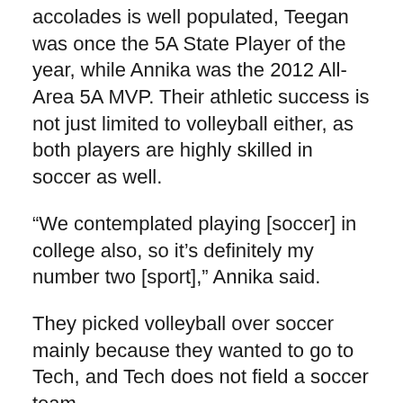accolades is well populated, Teegan was once the 5A State Player of the year, while Annika was the 2012 All-Area 5A MVP. Their athletic success is not just limited to volleyball either, as both players are highly skilled in soccer as well.
“We contemplated playing [soccer] in college also, so it’s definitely my number two [sport],” Annika said.
They picked volleyball over soccer mainly because they wanted to go to Tech, and Tech does not field a soccer team.
“It came down to who recruited us and which school we liked best academic wise,” Teegan said. “[Tech is giving] us the best academic degree.”
So far both of their majors are undecided, though they are swinging towards engineering.
“I would definitely say [we’re leaning towards]